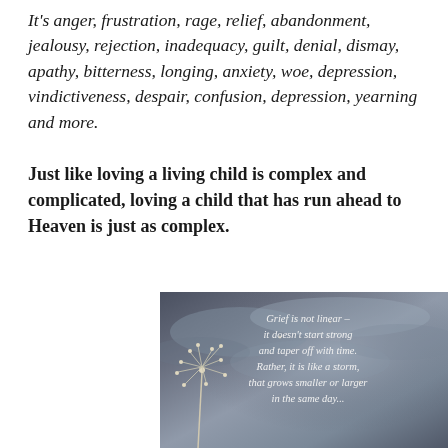It's anger, frustration, rage, relief, abandonment, jealousy, rejection, inadequacy, guilt, denial, dismay, apathy, bitterness, longing, anxiety, woe, depression, vindictiveness, despair, confusion, depression, yearning and more.
Just like loving a living child is complex and complicated, loving a child that has run ahead to Heaven is just as complex.
[Figure (photo): Dark stormy sky background with a dandelion in the lower left. White italic text overlay reads: 'Grief is not linear – it doesn't start strong and taper off with time. Rather, it is like a storm, that grows smaller or larger in the same day...']